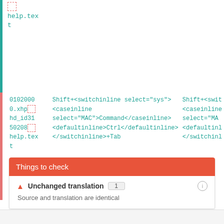[Figure (screenshot): Code editor row with teal left border showing a file icon (dashed red border) and 'help.text' in teal monospace font]
[Figure (screenshot): Code editor row with red/orange left border showing file path '01020000.xhp hd_id3150208 help.text' and XML code with switchinline, caseinline, defaultinline tags, partially cut off on right]
Things to check
Unchanged translation 1
Source and translation are identical